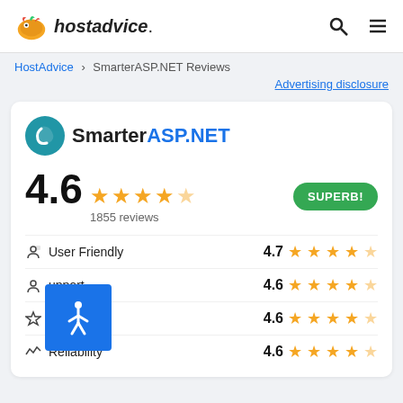[Figure (logo): HostAdvice logo with fox mascot icon and italic text 'hostadvice.']
HostAdvice > SmarterASP.NET Reviews
Advertising disclosure
[Figure (logo): SmarterASP.NET brand logo with teal circular icon]
4.6 ★★★★½ 1855 reviews SUPERB!
User Friendly 4.7 ★★★★½
Support 4.6 ★★★★½
Features 4.6 ★★★★½
Reliability 4.6 ★★★★½